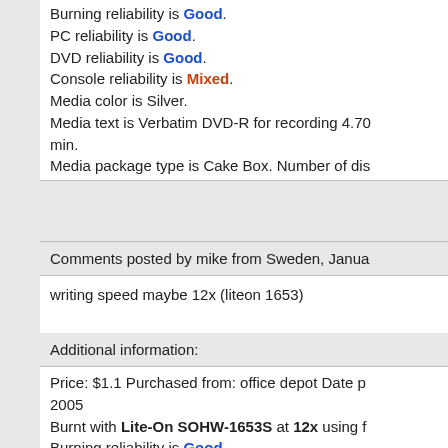Burning reliability is Good. PC reliability is Good. DVD reliability is Good. Console reliability is Mixed. Media color is Silver. Media text is Verbatim DVD-R for recording 4.70 min. Media package type is Cake Box. Number of dis
Comments posted by mike from Sweden, Janua
writing speed maybe 12x (liteon 1653)
Additional information:
Price: $1.1 Purchased from: office depot Date p 2005 Burnt with Lite-On SOHW-1653S at 12x using f Burning reliability is Good.